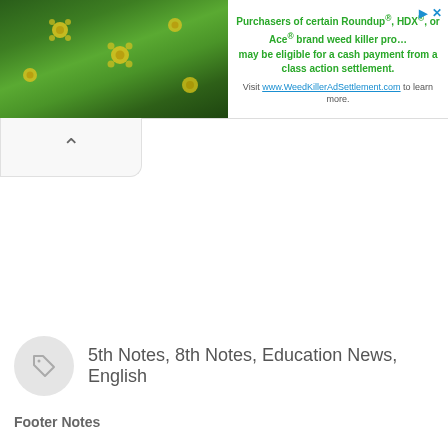[Figure (infographic): Advertisement banner: green plant/flower image on left, text on right. Purchasers of certain Roundup®, HDX®, or Ace® brand weed killer products may be eligible for a cash payment from a class action settlement. Visit www.WeedKillerAdSettlement.com to learn more.]
[Figure (other): Collapse/chevron up button (^) in a rounded rectangle tab below the ad banner]
5th Notes, 8th Notes, Education News, English
Footer Notes